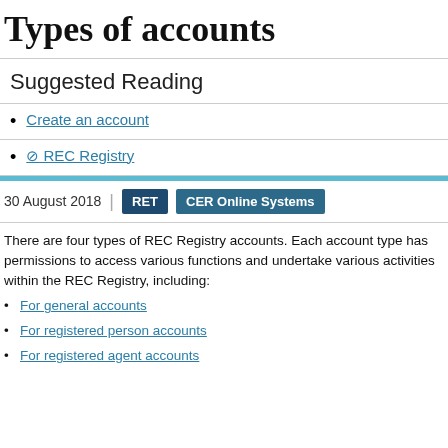Types of accounts
Suggested Reading
Create an account
⊘ REC Registry
30 August 2018  |  RET  CER Online Systems
There are four types of REC Registry accounts. Each account type has permissions to access various functions and undertake various activities within the REC Registry, including:
For general accounts
For registered person accounts
For registered agent accounts